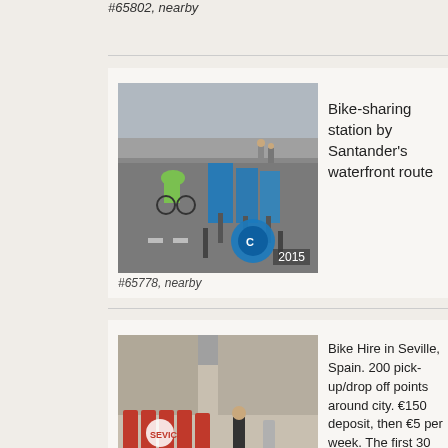#65802, nearby
[Figure (photo): Bike-sharing station by Santander waterfront route, year 2015]
#65778, nearby
Bike-sharing station by Santander's waterfront route
[Figure (photo): Bike Hire in Seville, Spain, year 2009]
#19233, nearby
Bike Hire in Seville, Spain. 200 pick-up/drop off points around city. €150 deposit, then €5 per week. The first 30 mins are free, the next hour €1, subsequent hours €2. (Information from Lonely Planet Spain guide). They look ... [more]